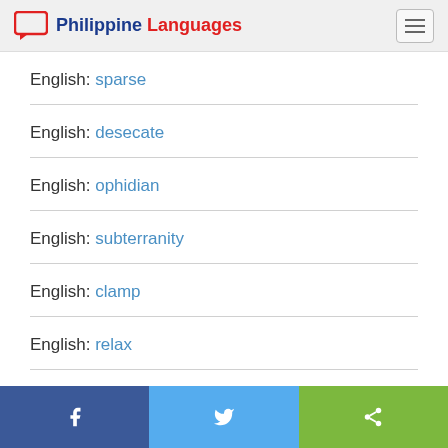Philippine Languages
English: sparse
English: desecate
English: ophidian
English: subterranity
English: clamp
English: relax
Facebook | Twitter | Share